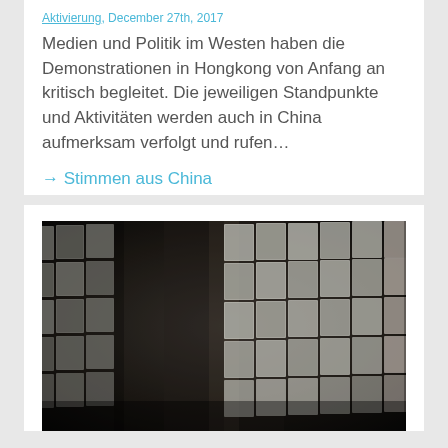Aktivierung, December 27th, 2017
Medien und Politik im Westen haben die Demonstrationen in Hongkong von Anfang an kritisch begleitet. Die jeweiligen Standpunkte und Aktivitäten werden auch in China aufmerksam verfolgt und rufen…
→ Stimmen aus China
[Figure (photo): Black and white portrait photographs arranged in a grid on a wall, curving around a corner. Many rows and columns of small portrait photos, resembling a memorial wall.]